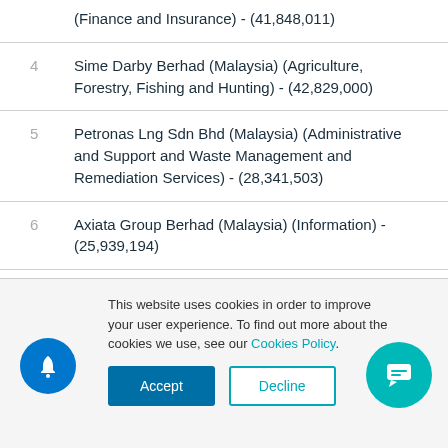(Finance and Insurance) - (41,848,011)
4  Sime Darby Berhad (Malaysia) (Agriculture, Forestry, Fishing and Hunting) - (42,829,000)
5  Petronas Lng Sdn Bhd (Malaysia) (Administrative and Support and Waste Management and Remediation Services) - (28,341,503)
6  Axiata Group Berhad (Malaysia) (Information) - (25,939,194)
7  Malaysia Lng Tiga Sdn. Bhd. (Malaysia) (Mining, Quarrying, and Oil and Gas
This website uses cookies in order to improve your user experience. To find out more about the cookies we use, see our Cookies Policy.